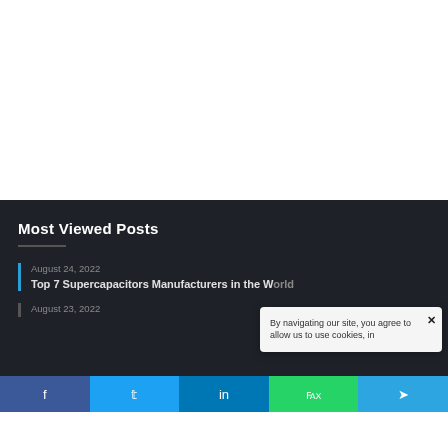[Figure (other): White blank area at the top of the page, likely an advertisement or image placeholder]
Most Viewed Posts
August 24, 2022
Top 7 Supercapacitors Manufacturers in the World
August 23, 2022
By navigating our site, you agree to allow us to use cookies, in
f  t  in  (whatsapp icon)  (telegram icon)